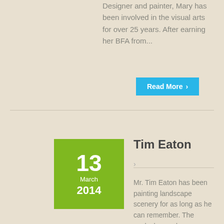Designer and painter, Mary has been involved in the visual arts for over 25 years. After earning her BFA from...
Read More ›
Tim Eaton
13 March 2014
Mr. Tim Eaton has been painting landscape scenery for as long as he can remember. The works he produces are conceived entirely from recollections